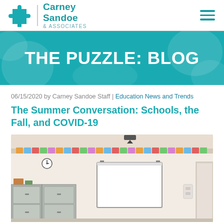Carney Sandoe & Associates
THE PUZZLE: BLOG
06/15/2020 by Carney Sandoe Staff | Education News and Trends
The Summer Conversation: Schools, the Fall, and COVID-19
[Figure (photo): A classroom interior with a whiteboard mounted on the wall, colorful border display decorations along the top of the wall, storage cabinets on the left, and various classroom furniture.]